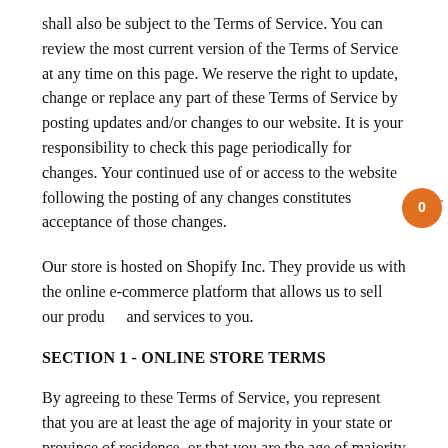shall also be subject to the Terms of Service. You can review the most current version of the Terms of Service at any time on this page. We reserve the right to update, change or replace any part of these Terms of Service by posting updates and/or changes to our website. It is your responsibility to check this page periodically for changes. Your continued use of or access to the website following the posting of any changes constitutes acceptance of those changes.
Our store is hosted on Shopify Inc. They provide us with the online e-commerce platform that allows us to sell our products and services to you.
SECTION 1 - ONLINE STORE TERMS
By agreeing to these Terms of Service, you represent that you are at least the age of majority in your state or province of residence, or that you are the age of majority in your state or province of residence and you have given us your consent to allow any of your minor dependents to use this site.
You may not use our products for any illegal or unauthorized